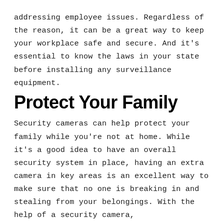addressing employee issues. Regardless of the reason, it can be a great way to keep your workplace safe and secure. And it's essential to know the laws in your state before installing any surveillance equipment.
Protect Your Family
Security cameras can help protect your family while you're not at home. While it's a good idea to have an overall security system in place, having an extra camera in key areas is an excellent way to make sure that no one is breaking in and stealing from your belongings. With the help of a security camera,